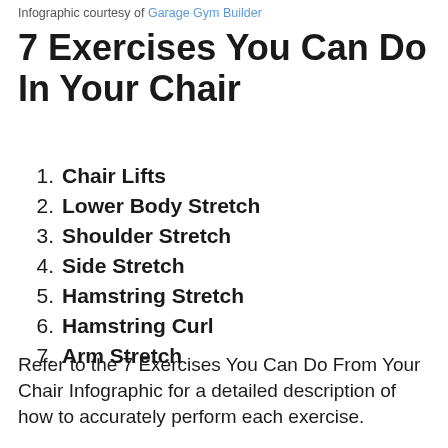Infographic courtesy of Garage Gym Builder
7 Exercises You Can Do In Your Chair
1. Chair Lifts
2. Lower Body Stretch
3. Shoulder Stretch
4. Side Stretch
5. Hamstring Stretch
6. Hamstring Curl
7. Arm Stretch
Refer to the 7 Exercises You Can Do From Your Chair Infographic for a detailed description of how to accurately perform each exercise.